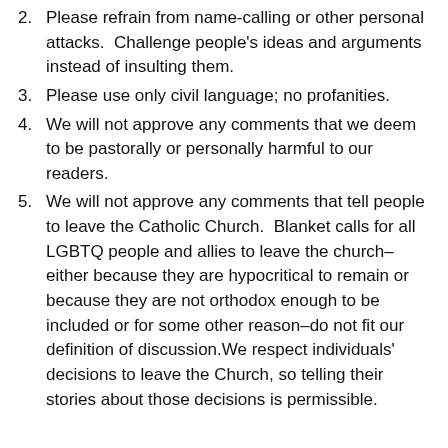2. Please refrain from name-calling or other personal attacks.  Challenge people's ideas and arguments instead of insulting them.
3. Please use only civil language; no profanities.
4. We will not approve any comments that we deem to be pastorally or personally harmful to our readers.
5. We will not approve any comments that tell people to leave the Catholic Church.  Blanket calls for all LGBTQ people and allies to leave the church–either because they are hypocritical to remain or because they are not orthodox enough to be included or for some other reason–do not fit our definition of discussion.We respect individuals' decisions to leave the Church, so telling their stories about those decisions is permissible.